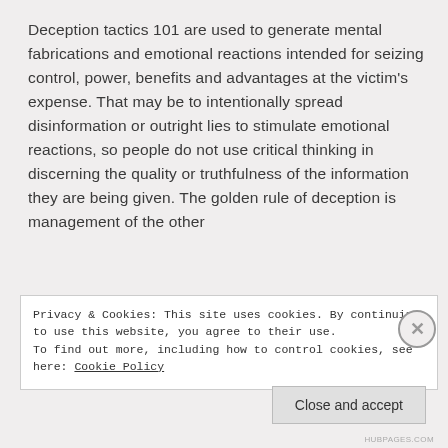Deception tactics 101 are used to generate mental fabrications and emotional reactions intended for seizing control, power, benefits and advantages at the victim's expense. That may be to intentionally spread disinformation or outright lies to stimulate emotional reactions, so people do not use critical thinking in discerning the quality or truthfulness of the information they are being given. The golden rule of deception is management of the other
Privacy & Cookies: This site uses cookies. By continuing to use this website, you agree to their use.
To find out more, including how to control cookies, see here: Cookie Policy
Close and accept
HUBPAGES.COM